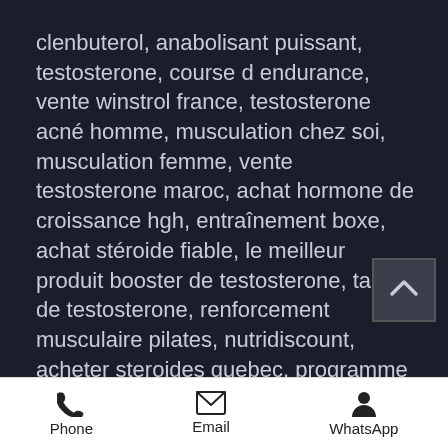clenbuterol, anabolisant puissant, testosterone, course d endurance, vente winstrol france, testosterone acné homme, musculation chez soi, musculation femme, vente testosterone maroc, achat hormone de croissance hgh, entraînement boxe, achat stéroide fiable, le meilleur produit booster de testosterone, taux de testosterone, renforcement musculaire pilates, nutridiscount, acheter steroides quebec, programme de renforcement musculaire homme, endurance shop angers, creatine decathlon, clenbuterol pro achat, repas riche en protéine, cure steroide prise de masse debutant, steroide anabolisant en pharmacie, les stéroïdes dans le sport, produit pour la musculation, acheter steroide thailande.
Phone  Email  WhatsApp